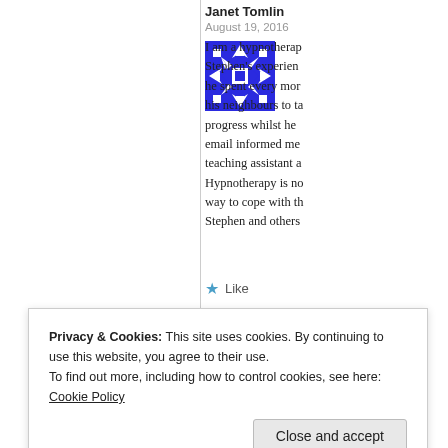Janet Tomlin
August 19, 2016
[Figure (illustration): Blue and white geometric/snowflake avatar icon with square patterns]
I am a hypnotherap... Stephen's experien... he spent every mor... his neighbours to ta... progress whilst he ... email informed me ... teaching assistant a... Hypnotherapy is no... way to cope with th... Stephen and others...
Like
Reply
Privacy & Cookies: This site uses cookies. By continuing to use this website, you agree to their use.
To find out more, including how to control cookies, see here: Cookie Policy
Close and accept